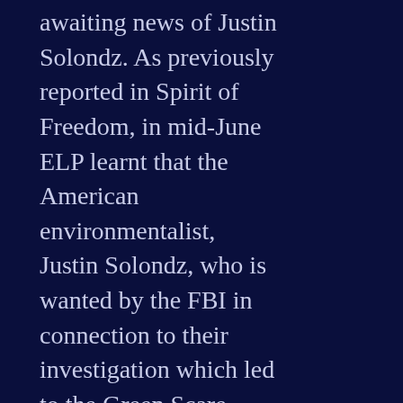awaiting news of Justin Solondz. As previously reported in Spirit of Freedom, in mid-June ELP learnt that the American environmentalist, Justin Solondz, who is wanted by the FBI in connection to their investigation which led to the Green Scare Trials in both Oregon and Washington, has been arrested in China. Since then ELP has not heard anything more about Justin. If anyone has any